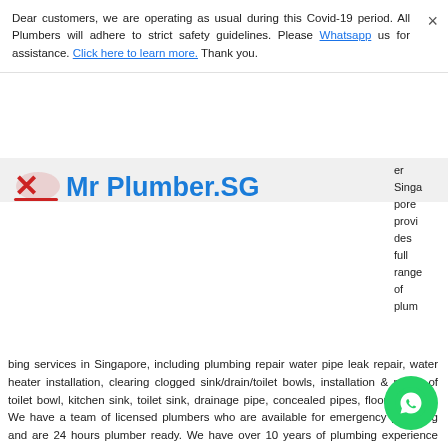Dear customers, we are operating as usual during this Covid-19 period. All Plumbers will adhere to strict safety guidelines. Please Whatsapp us for assistance. Click here to learn more. Thank you.
[Figure (logo): Mr Plumber.SG logo — red X mark icon on left, bold blue 'Mr Plumber.SG' text on right]
er Singapore provides full range of plumbing services in Singapore, including plumbing repair water pipe leak repair, water heater installation, clearing clogged sink/drain/toilet bowls, installation & repair of toilet bowl, kitchen sink, toilet sink, drainage pipe, concealed pipes, floor trap, etc. We have a team of licensed plumbers who are available for emergency plumbing and are 24 hours plumber ready. We have over 10 years of plumbing experience and have done thousands of plumbing jobs for both residential (Landed, condo and HDB plumbing) and commercial plumbing. We are the